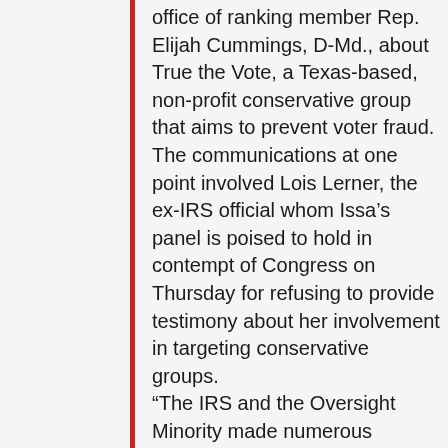office of ranking member Rep. Elijah Cummings, D-Md., about True the Vote, a Texas-based, non-profit conservative group that aims to prevent voter fraud. The communications at one point involved Lois Lerner, the ex-IRS official whom Issa's panel is poised to hold in contempt of Congress on Thursday for refusing to provide testimony about her involvement in targeting conservative groups. “The IRS and the Oversight Minority made numerous requests for virtually identical information from True the Vote, raising concerns that the IRS improperly shared protected taxpayer information with Rep. Cummings’ staff,” a statement from the Oversight panel reads.